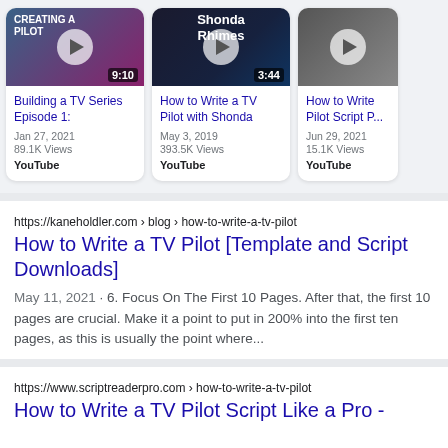[Figure (screenshot): Video card 1: Building a TV Series Episode 1 thumbnail with play button and 9:10 duration]
Building a TV Series Episode 1:
Jan 27, 2021
89.1K Views
YouTube
[Figure (screenshot): Video card 2: How to Write a TV Pilot with Shonda Rhimes thumbnail with play button and 3:44 duration]
How to Write a TV Pilot with Shonda
May 3, 2019
393.5K Views
YouTube
[Figure (screenshot): Video card 3: How to Write Pilot Script P... thumbnail with play button]
How to Write Pilot Script P...
Jun 29, 2021
15.1K Views
YouTube
https://kaneholdler.com › blog › how-to-write-a-tv-pilot
How to Write a TV Pilot [Template and Script Downloads]
May 11, 2021 · 6. Focus On The First 10 Pages. After that, the first 10 pages are crucial. Make it a point to put in 200% into the first ten pages, as this is usually the point where...
https://www.scriptreaderpro.com › how-to-write-a-tv-pilot
How to Write a TV Pilot Script Like a Pro -